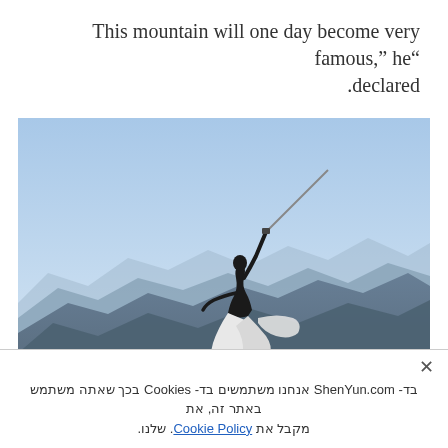This mountain will one day become very famous,” he“ .declared
[Figure (photo): A person dressed in white traditional robes stands on a rocky mountain peak, holding a sword raised upward, with layers of mountains and blue sky visible in the background.]
×
בד- ShenYun.com אנחנו משתמשים בד- Cookies בכך שאתה משתמש באתר זה, את מקבל את Cookie Policy. שלנו.